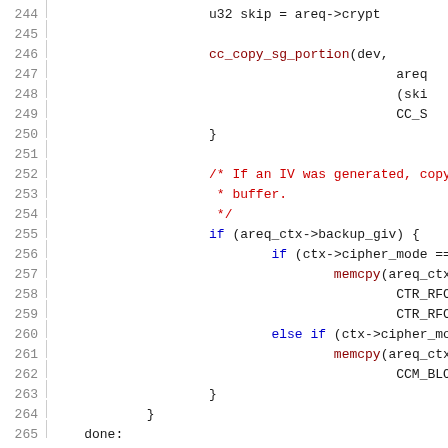[Figure (screenshot): Source code listing showing lines 244-265 of a C file with syntax highlighting. Line numbers in gray on left, code in black/blue/red on right. Shows crypto/cipher code with cc_copy_sg_portion call, IV comment block, and backup_giv conditional with cipher_mode checks.]